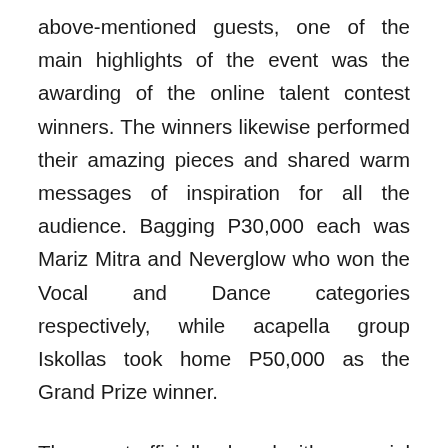above-mentioned guests, one of the main highlights of the event was the awarding of the online talent contest winners. The winners likewise performed their amazing pieces and shared warm messages of inspiration for all the audience. Bagging P30,000 each was Mariz Mitra and Neverglow who won the Vocal and Dance categories respectively, while acapella group Iskollas took home P50,000 as the Grand Prize winner.
The event officially closed with a special collaboration performance of 'Ikako' by SB19, as the trending boy group sang with, Mona Gonzales, Ann Sandig, Wave Lee, Dasuri Choi, Celso Espejo